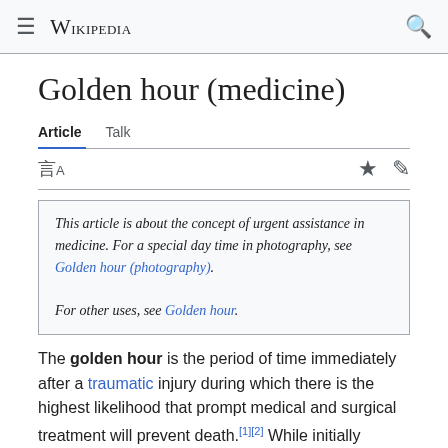Wikipedia
Golden hour (medicine)
Article  Talk
This article is about the concept of urgent assistance in medicine. For a special day time in photography, see Golden hour (photography). For other uses, see Golden hour.
The golden hour is the period of time immediately after a traumatic injury during which there is the highest likelihood that prompt medical and surgical treatment will prevent death.[1][2] While initially defined as an hour, the exact time period depends on the nature of the injury and can be